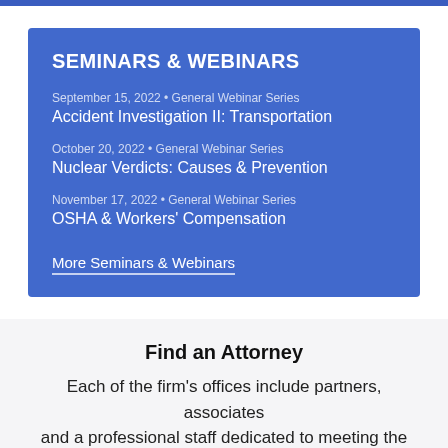SEMINARS & WEBINARS
September 15, 2022 • General Webinar Series
Accident Investigation II: Transportation
October 20, 2022 • General Webinar Series
Nuclear Verdicts: Causes & Prevention
November 17, 2022 • General Webinar Series
OSHA & Workers' Compensation
More Seminars & Webinars
Find an Attorney
Each of the firm's offices include partners, associates and a professional staff dedicated to meeting the